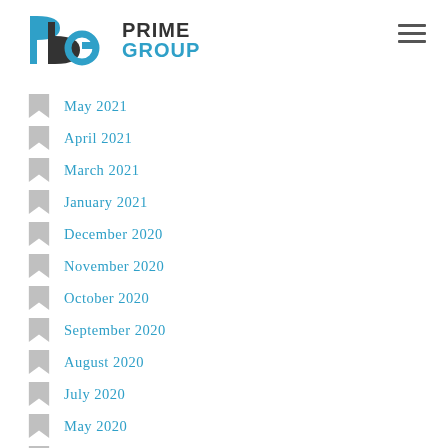Prime Group
May 2021
April 2021
March 2021
January 2021
December 2020
November 2020
October 2020
September 2020
August 2020
July 2020
May 2020
April 2020